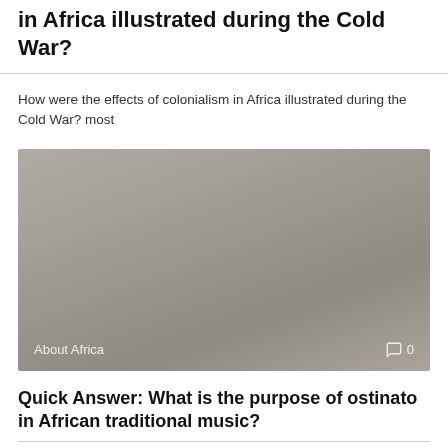in Africa illustrated during the Cold War?
How were the effects of colonialism in Africa illustrated during the Cold War? most
[Figure (photo): A grey/tan toned image placeholder with 'About Africa' label at bottom left and a comment icon with '0' at bottom right]
Quick Answer: What is the purpose of ostinato in African traditional music?
Musical instruments in traditional African music often serve as a modal and/or rhythmic support
[Figure (photo): A grey/tan toned image placeholder, partially visible at bottom of page]